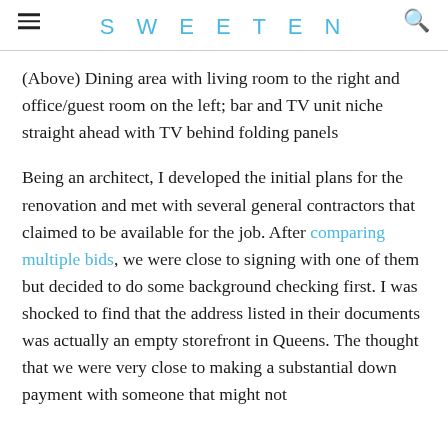SWEETEN
(Above) Dining area with living room to the right and office/guest room on the left; bar and TV unit niche straight ahead with TV behind folding panels
Being an architect, I developed the initial plans for the renovation and met with several general contractors that claimed to be available for the job. After comparing multiple bids, we were close to signing with one of them but decided to do some background checking first. I was shocked to find that the address listed in their documents was actually an empty storefront in Queens. The thought that we were very close to making a substantial down payment with someone that might not